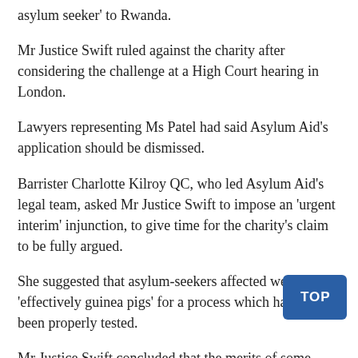asylum seeker' to Rwanda.
Mr Justice Swift ruled against the charity after considering the challenge at a High Court hearing in London.
Lawyers representing Ms Patel had said Asylum Aid's application should be dismissed.
Barrister Charlotte Kilroy QC, who led Asylum Aid's legal team, asked Mr Justice Swift to impose an 'urgent interim' injunction, to give time for the charity's claim to be fully argued.
She suggested that asylum-seekers affected were 'effectively guinea pigs' for a process which had not been properly tested.
Mr Justice Swift concluded that the merits of some arguments put forward by the charity were 'thin'.
Lawyers representing the charity indicated that an appeal would be considered.
Legal commentator Joshua Rozenberg said the Court of Appeal was emphatic in backing the way High Court judge Mr